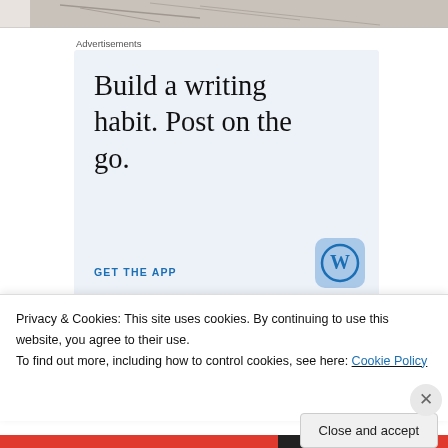[Figure (photo): Partial sketch/drawing image at the top of the page, cropped]
Advertisements
[Figure (infographic): WordPress advertisement with light blue background. Text: 'Build a writing habit. Post on the go.' with 'GET THE APP' call to action and WordPress logo.]
Privacy & Cookies: This site uses cookies. By continuing to use this website, you agree to their use.
To find out more, including how to control cookies, see here: Cookie Policy
Close and accept